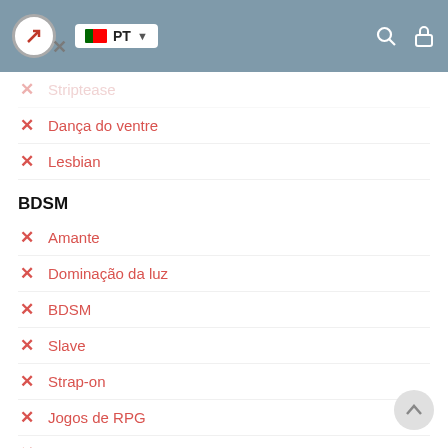PT
Striptease
Dança do ventre
Lesbian
BDSM
Amante
Dominação da luz
BDSM
Slave
Strap-on
Jogos de RPG
Curativo
Trampling
Carícia
Blowjob preservativo
Uma experiência de namorada